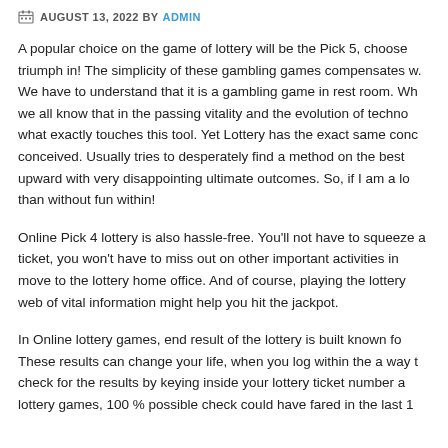AUGUST 13, 2022 BY ADMIN
A popular choice on the game of lottery will be the Pick 5, choose triumph in! The simplicity of these gambling games compensates w. We have to understand that it is a gambling game in rest room. Wh we all know that in the passing vitality and the evolution of techno what exactly touches this tool. Yet Lottery has the exact same conc conceived. Usually tries to desperately find a method on the best upward with very disappointing ultimate outcomes. So, if I am a lo than without fun within!
Online Pick 4 lottery is also hassle-free. You'll not have to squeeze a ticket, you won't have to miss out on other important activities in move to the lottery home office. And of course, playing the lottery web of vital information might help you hit the jackpot.
In Online lottery games, end result of the lottery is built known fo These results can change your life, when you log within the a way t check for the results by keying inside your lottery ticket number a lottery games, 100 % possible check could have fared in the last 1